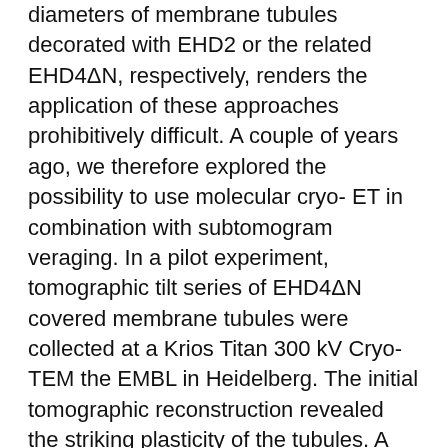diameters of membrane tubules decorated with EHD2 or the related EHD4ΔN, respectively, renders the application of these approaches prohibitively difficult. A couple of years ago, we therefore explored the possibility to use molecular cryo- ET in combination with subtomogram veraging. In a pilot experiment, tomographic tilt series of EHD4ΔN covered membrane tubules were collected at a Krios Titan 300 kV Cryo-TEM the EMBL in Heidelberg. The initial tomographic reconstruction revealed the striking plasticity of the tubules. A preliminary subtomogram average revealed regular rows of density that, based on the X-ray structure of EHD4ΔN21, can be identified as oligomeric EHD4 (Figure 2). These results were highly encouraging and paved the way for further in-depth analysis of EHD-induced membrane tubule formation and other oligomerization processes of scaffold proteins at membranes and our paper "Cryo-electron tomography reveals structural insights into the membrane binding and assembly dynamics of dynamin-like EHD ATPases"